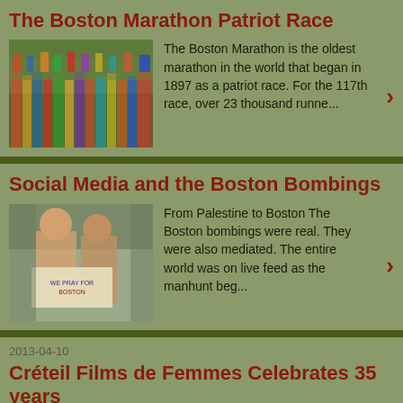The Boston Marathon Patriot Race
[Figure (photo): Crowd of marathon runners]
The Boston Marathon is the oldest marathon in the world that began in 1897 as a patriot race. For the 117th race, over 23 thousand runne...
Social Media and the Boston Bombings
[Figure (photo): Two people holding a sign about Boston]
From Palestine to Boston The Boston bombings were real. They were also mediated. The entire world was on live feed as the manhunt beg...
2013-04-10
Créteil Films de Femmes Celebrates 35 years
[Figure (photo): Film festival poster thumbnail]
35 th Year Poster by Karine Saporta  The Créteil